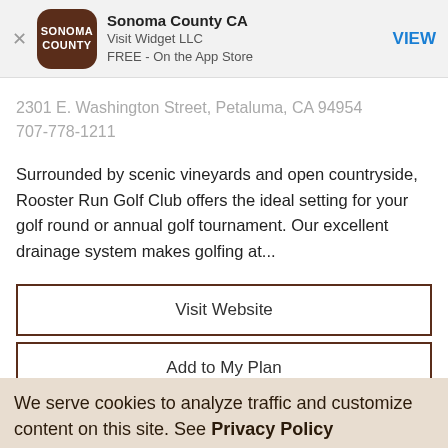[Figure (screenshot): App Store smart banner showing Sonoma County CA app by Visit Widget LLC, free on the App Store, with a dark brown rounded square icon displaying SONOMA COUNTY text, a close X button, and a blue VIEW button.]
2301 E. Washington Street, Petaluma, CA 94954
707-778-1211
Surrounded by scenic vineyards and open countryside, Rooster Run Golf Club offers the ideal setting for your golf round or annual golf tournament. Our excellent drainage system makes golfing at...
Visit Website
Add to My Plan
We serve cookies to analyze traffic and customize content on this site. See Privacy Policy